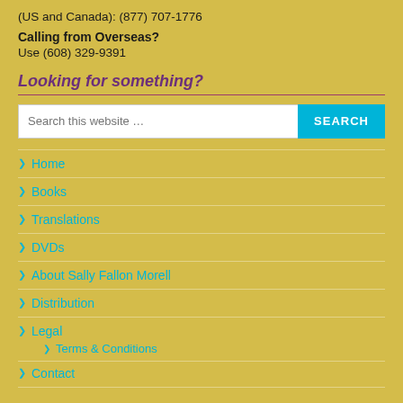(US and Canada): (877) 707-1776
Calling from Overseas?
Use (608) 329-9391
Looking for something?
Home
Books
Translations
DVDs
About Sally Fallon Morell
Distribution
Legal
Terms & Conditions
Contact